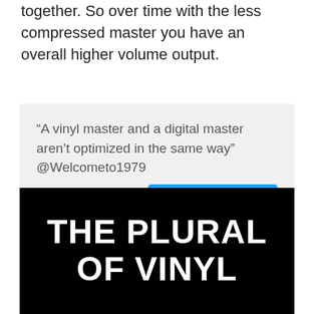together. So over time with the less compressed master you have an overall higher volume output.
“A vinyl master and a digital master aren’t optimized in the same way” @Welcometo1979
[Figure (infographic): Black background image with large white bold text reading THE PLURAL OF VINYL]
Click to Tweet button with Twitter bird icon